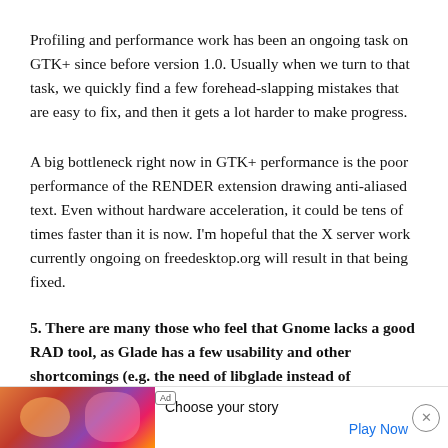Profiling and performance work has been an ongoing task on GTK+ since before version 1.0. Usually when we turn to that task, we quickly find a few forehead-slapping mistakes that are easy to fix, and then it gets a lot harder to make progress.
A big bottleneck right now in GTK+ performance is the poor performance of the RENDER extension drawing anti-aliased text. Even without hardware acceleration, it could be tens of times faster than it is now. I'm hopeful that the X server work currently ongoing on freedesktop.org will result in that being fixed.
5. There are many those who feel that Gnome lacks a good RAD tool, as Glade has a few usability and other shortcomings (e.g. the need of libglade instead of
real d... ce). What... ?
[Figure (other): Advertisement banner with colorful image on left, 'Ad' label, 'Choose your story' text, 'Play Now' link, and close button]